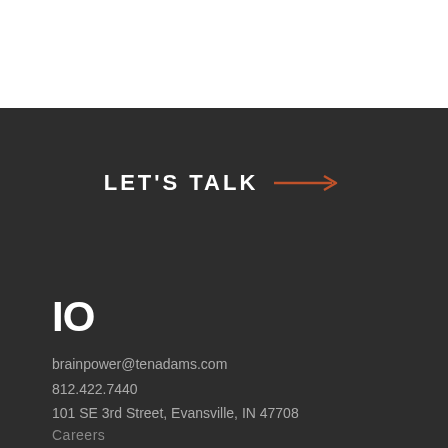LET'S TALK →
[Figure (logo): IO logo mark in white bold text on dark background]
brainpower@tenadams.com
812.422.7440
101 SE 3rd Street, Evansville, IN 47708
Careers